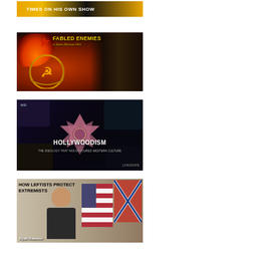[Figure (screenshot): Partial video thumbnail at top reading 'TIMES ON HIS OWN SHOW' with yellow/dark background]
[Figure (screenshot): Video thumbnail for 'Fabled Enemies - A Jason Bermas Film' showing Soviet hammer and sickle emblem, explosion, and a man in turban]
[Figure (screenshot): Video thumbnail for 'Hollywoodism: The Ideology That Has Devoured Western Culture' with six-pointed star and movie studio logos]
[Figure (screenshot): Video thumbnail titled 'HOW LEFTISTS PROTECT EXTREMISTS' featuring Ryan Dawson with US and Confederate flags in background]